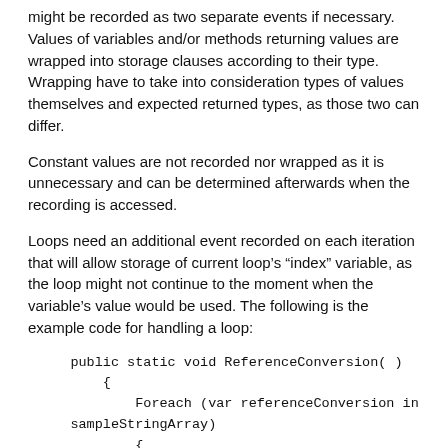might be recorded as two separate events if necessary. Values of variables and/or methods returning values are wrapped into storage clauses according to their type. Wrapping have to take into consideration types of values themselves and expected returned types, as those two can differ.
Constant values are not recorded nor wrapped as it is unnecessary and can be determined afterwards when the recording is accessed.
Loops need an additional event recorded on each iteration that will allow storage of current loop’s “index” variable, as the loop might not continue to the moment when the variable’s value would be used. The following is the example code for handling a loop: